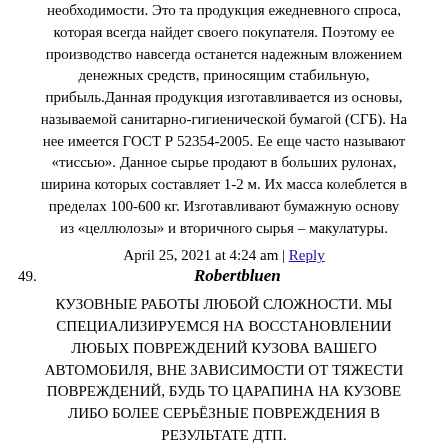необходимости. Это та продукция ежедневного спроса, которая всегда найдет своего покупателя. Поэтому ее производство навсегда останется надежным вложением денежных средств, приносящим стабильную, прибыль.Данная продукция изготавливается из основы, называемой санитарно-гигиенической бумагой (СГБ). На нее имеется ГОСТ Р 52354-2005. Ее еще часто называют «тиссью». Данное сырье продают в больших рулонах, ширина которых составляет 1-2 м. Их масса колеблется в пределах 100-600 кг. Изготавливают бумажную основу из «целлюлозы» и вторичного сырья – макулатуры.
April 25, 2021 at 4:24 am | Reply
49.   Robertbluen
КУЗОВНЫЕ РАБОТЫ ЛЮБОЙ СЛОЖНОСТИ. МЫ СПЕЦИАЛИЗИРУЕМСЯ НА ВОССТАНОВЛЕНИИ ЛЮБЫХ ПОВРЕЖДЕНИЙ КУЗОВА ВАШЕГО АВТОМОБИЛЯ, ВНЕ ЗАВИСИМОСТИ ОТ ТЯЖЕСТИ ПОВРЕЖДЕНИЙ, БУДЬ ТО ЦАРАПИНА НА КУЗОВЕ ЛИБО БОЛЕЕ СЕРЬЁЗНЫЕ ПОВРЕЖДЕНИЯ В РЕЗУЛЬТАТЕ ДТП.
https://srv-motors.ru/%D1%88%D0%B8%D0%BD%D0%BE%D0%BC%
%D0%BD%D0%B0-
%D0%B0%D0%B0%D0%B4%D0%B0%D0%B4%D0%B5%D0%B5%D0%B5